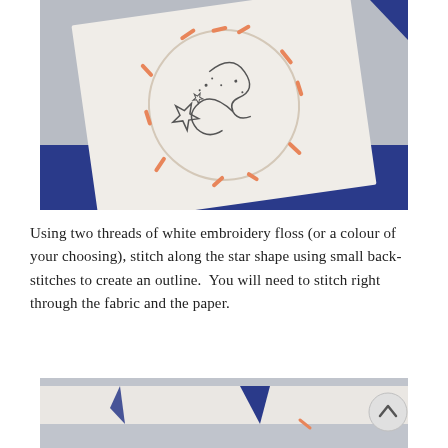[Figure (photo): A white felt or fabric square with an embroidered circular design featuring stars and swirls, with orange/pink dash stitches around the circle outline, placed on top of a blue box on a light gray background.]
Using two threads of white embroidery floss (or a colour of your choosing), stitch along the star shape using small back-stitches to create an outline.  You will need to stitch right through the fabric and the paper.
[Figure (photo): Partial view of white fabric/felt being held up, with a blue triangular element visible and orange stitches, against a light background.]